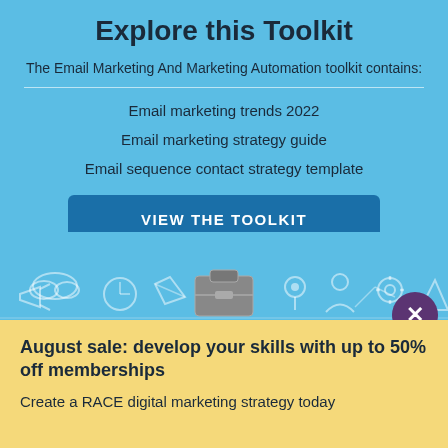Explore this Toolkit
The Email Marketing And Marketing Automation toolkit contains:
Email marketing trends 2022
Email marketing strategy guide
Email sequence contact strategy template
[Figure (illustration): A button labeled VIEW THE TOOLKIT in dark blue with rounded corners]
[Figure (illustration): White line-art icons of marketing/digital tools (cloud, megaphone, compass, briefcase, location pin, gears, chart) on light blue background]
August sale: develop your skills with up to 50% off memberships
Create a RACE digital marketing strategy today